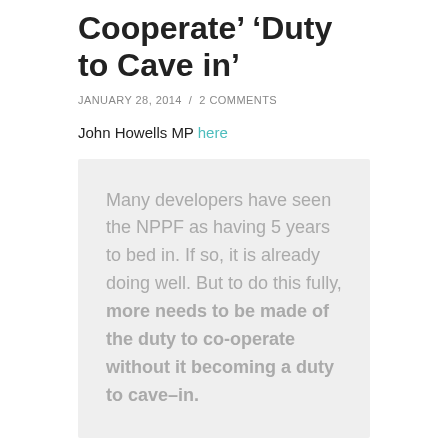Cooperate' 'Duty to Cave in'
JANUARY 28, 2014  /  2 COMMENTS
John Howells MP here
Many developers have seen the NPPF as having 5 years to bed in. If so, it is already doing well. But to do this fully, more needs to be made of the duty to co-operate without it becoming a duty to cave–in.
Does this mean. Like Eric Pickles calling the application of the duty, 'terrorism', they are having second thoughts? Of course the duty is not a duty to agree and providing and LBA can prove they are not a willing LBA